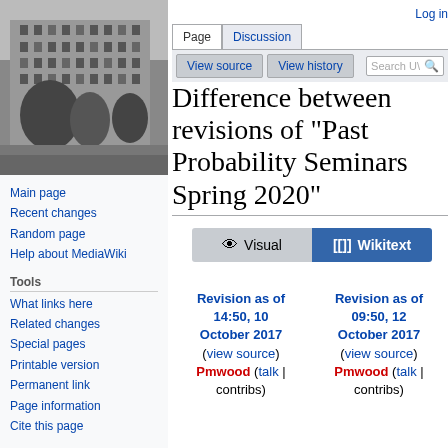[Figure (photo): Black and white photo of a building with trees in front]
Main page
Recent changes
Random page
Help about MediaWiki
Tools
What links here
Related changes
Special pages
Printable version
Permanent link
Page information
Cite this page
Log in
Difference between revisions of "Past Probability Seminars Spring 2020"
Revision as of 14:50, 10 October 2017 (view source) Pmwood (talk | contribs)
Revision as of 09:50, 12 October 2017 (view source) Pmwood (talk | contribs)